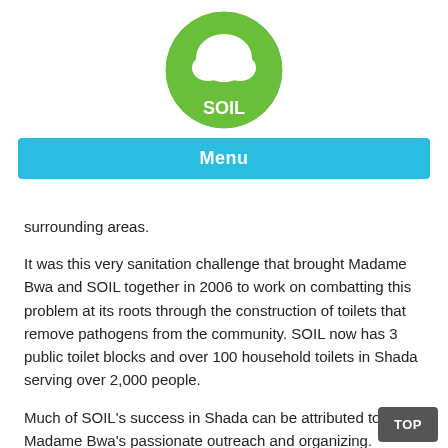[Figure (logo): SOIL logo: green circle with white tree silhouette and 'SOIL' text in white at bottom]
Menu
surrounding areas.
It was this very sanitation challenge that brought Madame Bwa and SOIL together in 2006 to work on combatting this problem at its roots through the construction of toilets that remove pathogens from the community. SOIL now has 3 public toilet blocks and over 100 household toilets in Shada serving over 2,000 people.
Much of SOIL's success in Shada can be attributed to Madame Bwa's passionate outreach and organizing.